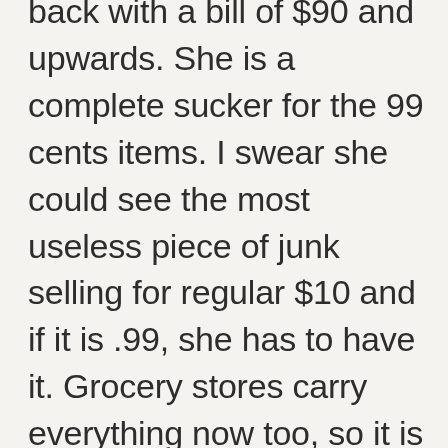back with a bill of $90 and upwards. She is a complete sucker for the 99 cents items. I swear she could see the most useless piece of junk selling for regular $10 and if it is .99, she has to have it. Grocery stores carry everything now too, so it is like one stop shopping full of temptation. Superstore carries a clothing line by Joe Fresh; you can now buy ingredients for your stir fry